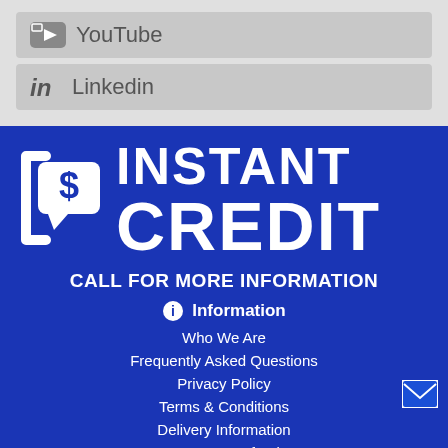YouTube
Linkedin
[Figure (logo): Instant Credit logo with speech bubble containing dollar sign and bracket icon on blue background]
INSTANT CREDIT
CALL FOR MORE INFORMATION
Information
Who We Are
Frequently Asked Questions
Privacy Policy
Terms & Conditions
Delivery Information
Returns & Refunds
[Figure (other): Partially visible Customer Service section header at bottom]